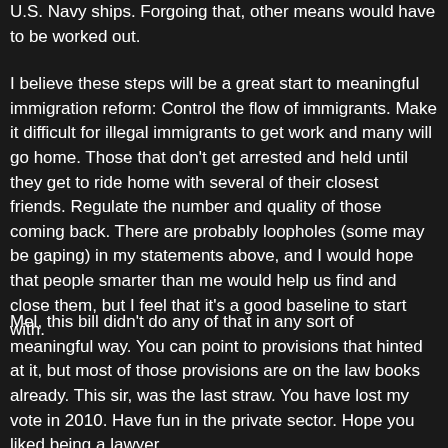U.S. Navy ships. Forgoing that, other means would have to be worked out.
I believe these steps will be a great start to meaningful immigration reform: Control the flow of immigrants. Make it difficult for illegal immigrants to get work and many will go home. Those that don't get arrested and held until they get to ride home with several of their closest friends. Regulate the number and quality of those coming back. There are probably loopholes (some may be gaping) in my statements above, and I would hope that people smarter than me would help us find and close them, but I feel that it's a good baseline to start with.
Mel, this bill didn't do any of that in any sort of meaningful way. You can point to provisions that hinted at it, but most of those provisions are on the law books already. This sir, was the last straw. You have lost my vote in 2010. Have fun in the private sector. Hope you liked being a lawyer.